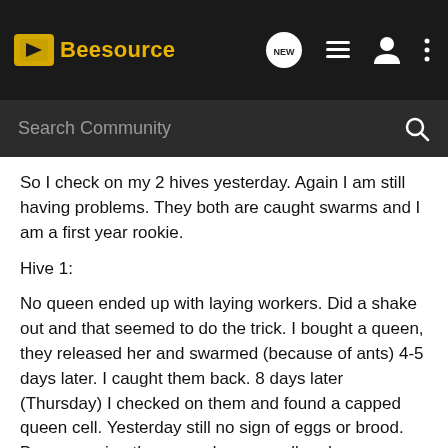Beesource
Search Community
So I check on my 2 hives yesterday. Again I am still having problems. They both are caught swarms and I am a first year rookie.
Hive 1:
No queen ended up with laying workers. Did a shake out and that seemed to do the trick. I bought a queen, they released her and swarmed (because of ants) 4-5 days later. I caught them back. 8 days later (Thursday) I checked on them and found a capped queen cell. Yesterday still no sign of eggs or brood. Bees covering the capped queen cell and very protective of it.
Hive 2:
This